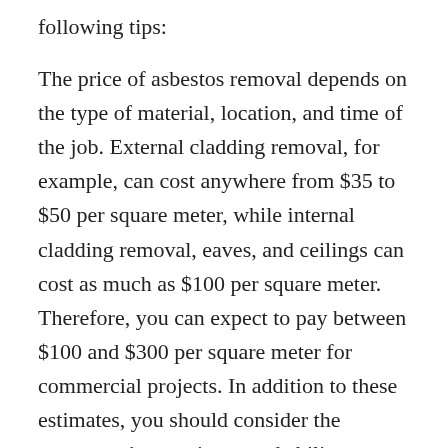following tips:
The price of asbestos removal depends on the type of material, location, and time of the job. External cladding removal, for example, can cost anywhere from $35 to $50 per square meter, while internal cladding removal, eaves, and ceilings can cost as much as $100 per square meter. Therefore, you can expect to pay between $100 and $300 per square meter for commercial projects. In addition to these estimates, you should consider the contractor's experience and ability to use safe methods. The prices vary significantly from job to job, so it's best to seek